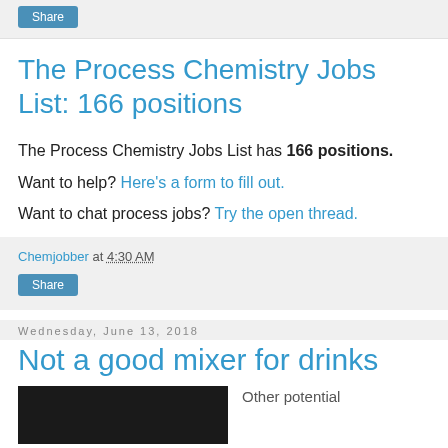Share
The Process Chemistry Jobs List: 166 positions
The Process Chemistry Jobs List has 166 positions.
Want to help? Here's a form to fill out.
Want to chat process jobs? Try the open thread.
Chemjobber at 4:30 AM
Share
Wednesday, June 13, 2018
Not a good mixer for drinks
Other potential